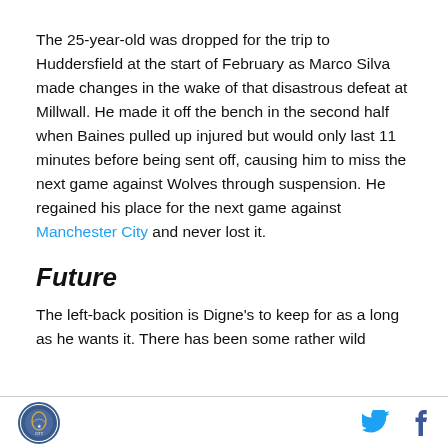The 25-year-old was dropped for the trip to Huddersfield at the start of February as Marco Silva made changes in the wake of that disastrous defeat at Millwall. He made it off the bench in the second half when Baines pulled up injured but would only last 11 minutes before being sent off, causing him to miss the next game against Wolves through suspension. He regained his place for the next game against Manchester City and never lost it.
Future
The left-back position is Digne's to keep for as a long as he wants it. There has been some rather wild
[logo] [twitter] [facebook]